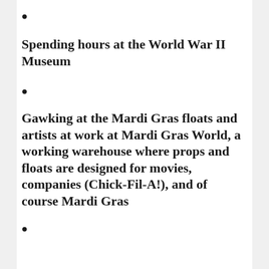•
Spending hours at the World War II Museum
•
Gawking at the Mardi Gras floats and artists at work at Mardi Gras World, a working warehouse where props and floats are designed for movies, companies (Chick-Fil-A!), and of course Mardi Gras
•